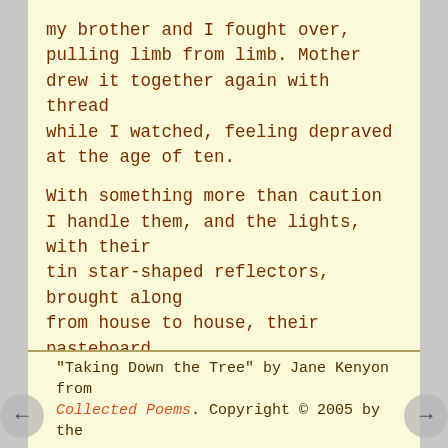my brother and I fought over,
pulling limb from limb. Mother
drew it together again with thread
while I watched, feeling depraved
at the age of ten.

With something more than caution
I handle them, and the lights, with their
tin star-shaped reflectors, brought along
from house to house, their pasteboard
toy suitcases increasingly flimsy.
Tick, tick, the desiccated needles drop.

By suppertime all that remains is the scent
of balsam fir. If it's darkness
we're having, let it be extravagant.
"Taking Down the Tree" by Jane Kenyon from Collected Poems. Copyright © 2005 by the